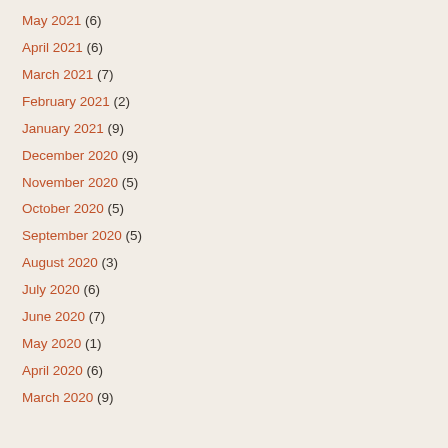May 2021 (6)
April 2021 (6)
March 2021 (7)
February 2021 (2)
January 2021 (9)
December 2020 (9)
November 2020 (5)
October 2020 (5)
September 2020 (5)
August 2020 (3)
July 2020 (6)
June 2020 (7)
May 2020 (1)
April 2020 (6)
March 2020 (9)